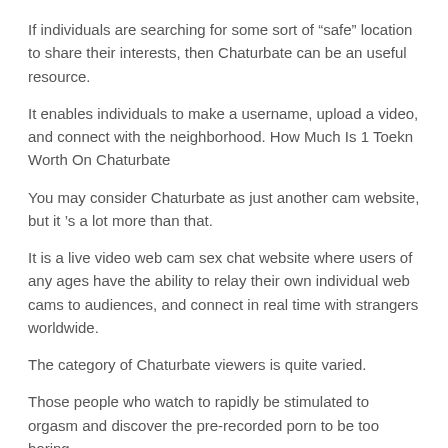If individuals are searching for some sort of “safe” location to share their interests, then Chaturbate can be an useful resource.
It enables individuals to make a username, upload a video, and connect with the neighborhood. How Much Is 1 Toekn Worth On Chaturbate
You may consider Chaturbate as just another cam website, but it ’s a lot more than that.
It is a live video web cam sex chat website where users of any ages have the ability to relay their own individual web cams to audiences, and connect in real time with strangers worldwide.
The category of Chaturbate viewers is quite varied.
Those people who watch to rapidly be stimulated to orgasm and discover the pre-recorded porn to be too boring.